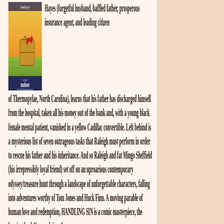[Figure (illustration): Book cover of 'Malone' by Michael Malone — shows a landscape with a suitcase and colorful imagery]
Hayes (forgetful husband, baffled father, prosperous insurance agent, and leading citizen of Thermopylae, North Carolina), learns that his father has discharged himself from the hospital, taken all his money out of the bank and, with a young black female mental patient, vanished in a yellow Cadillac convertible. Left behind is a mysterious list of seven outrageous tasks that Raleigh must perform in order to rescue his father and his inheritance. And so Raleigh and fat Mingo Sheffield (his irrepressibly loyal friend) set off on an uproarious contemporary odyssey/treasure hunt through a landscape of unforgettable characters, falling into adventures worthy of Tom Jones and Huck Finn. A moving parable of human love and redemption, HANDLING SIN is a comic masterpiece, the funniest book I've read since Larry